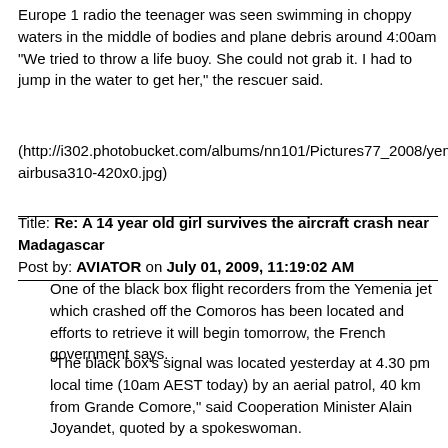Europe 1 radio the teenager was seen swimming in choppy waters in the middle of bodies and plane debris around 4:00am "We tried to throw a life buoy. She could not grab it. I had to jump in the water to get her," the rescuer said.
(http://i302.photobucket.com/albums/nn101/Pictures77_2008/yemenia-airbusa310-420x0.jpg)
Title: Re: A 14 year old girl survives the aircraft crash near Madagascar
Post by: AVIATOR on July 01, 2009, 11:19:02 AM
One of the black box flight recorders from the Yemenia jet which crashed off the Comoros has been located and efforts to retrieve it will begin tomorrow, the French government says.
"The black box's signal was located yesterday at 4.30 pm local time (10am AEST today) by an aerial patrol, 40 km from Grande Comore," said Cooperation Minister Alain Joyandet, quoted by a spokeswoman.
A French patrol ship, the Rieuse, was to arrive on site later Wednesday to start operations to recover the flight recorder.
La Rieuse
(http://i302.photobucket.com/albums/nn101/Pictures77_2008/LaRieuse.